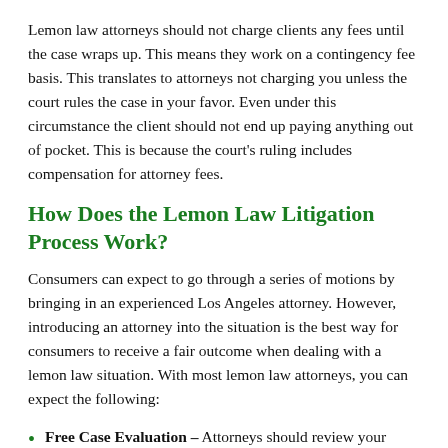Lemon law attorneys should not charge clients any fees until the case wraps up. This means they work on a contingency fee basis. This translates to attorneys not charging you unless the court rules the case in your favor. Even under this circumstance the client should not end up paying anything out of pocket. This is because the court's ruling includes compensation for attorney fees.
How Does the Lemon Law Litigation Process Work?
Consumers can expect to go through a series of motions by bringing in an experienced Los Angeles attorney. However, introducing an attorney into the situation is the best way for consumers to receive a fair outcome when dealing with a lemon law situation. With most lemon law attorneys, you can expect the following:
Free Case Evaluation – Attorneys should review your